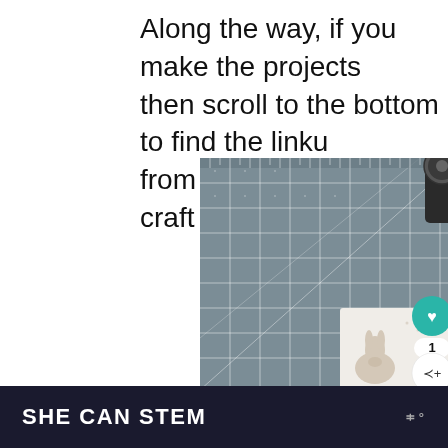Along the way, if you make the projects then scroll to the bottom to find the linku from some of our favorite craft companie
[Figure (photo): A grey cutting mat with white grid lines and angle markers, with a rotary cutter visible at the top right and a fabric piece with rabbit print at the bottom right corner. Social media UI buttons (heart/like, share) overlaid on the right side.]
SHE CAN STEM